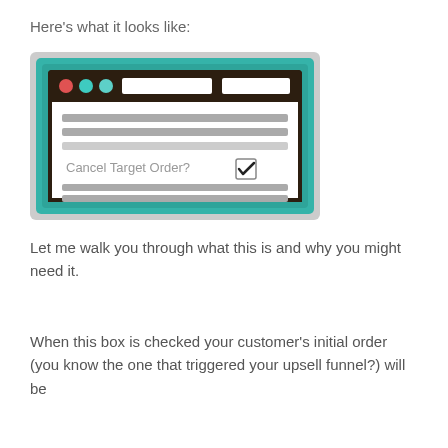Here's what it looks like:
[Figure (screenshot): A stylized browser window screenshot showing a web form with the text 'Cancel Target Order?' and a checked checkbox. The browser window has a teal/turquoise border, dark title bar with red, teal, and light-teal circle buttons, and white content area with gray horizontal lines representing text and a checkbox labeled 'Cancel Target Order?' that is checked.]
Let me walk you through what this is and why you might need it.
When this box is checked your customer's initial order (you know the one that triggered your upsell funnel?) will be